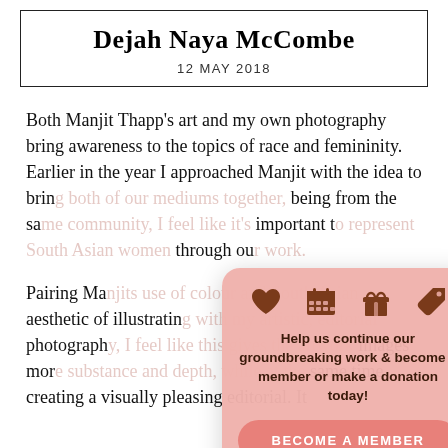Dejah Naya McCombe
12 MAY 2018
Both Manjit Thapp’s art and my own photography bring awareness to the topics of race and femininity. Earlier in the year I approached Manjit with the idea to bring both of our mediums together, being from the same community, I feel like it’s important to represent South Asian women through our work.
Pairing Manjits use of colour and South Asian aesthetic of illustrating with my artistic, editorial photography, I feel like this gives the artwork images more substance and depth, while at the same time creating a visually pleasing editorial. It
Help us continue our groundbreaking work & become a member or make a donation today!
BECOME A MEMBER